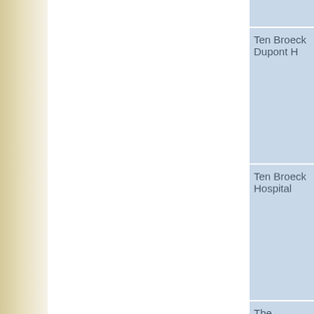Ten Broeck Dupont H
Ten Broeck Hospital
The Medical Center a
The Medical Center a
The Medical Center a